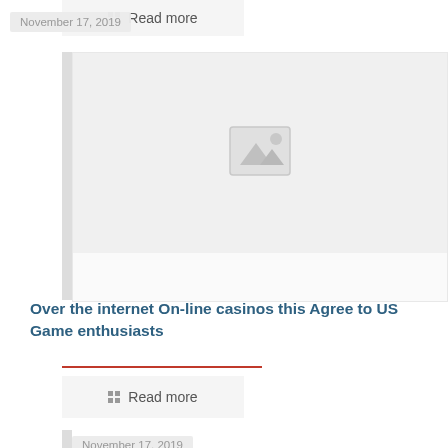Read more
November 17, 2019
[Figure (photo): Placeholder image thumbnail with mountain/landscape icon]
Over the internet On-line casinos this Agree to US Game enthusiasts
Read more
November 17, 2019